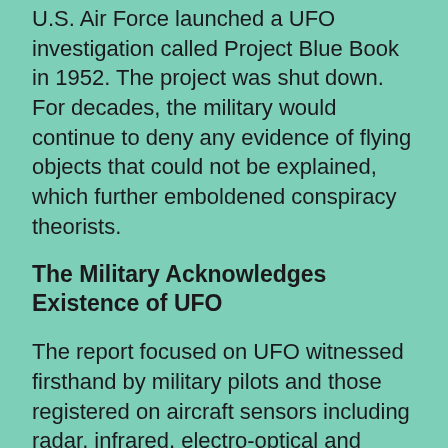U.S. Air Force launched a UFO investigation called Project Blue Book in 1952. The project was shut down. For decades, the military would continue to deny any evidence of flying objects that could not be explained, which further emboldened conspiracy theorists.
The Military Acknowledges Existence of UFO
The report focused on UFO witnessed firsthand by military pilots and those registered on aircraft sensors including radar, infrared, electro-optical and weapons seekers. These sensors can provide accurate information about relative size, shape, structure, velocity and range.